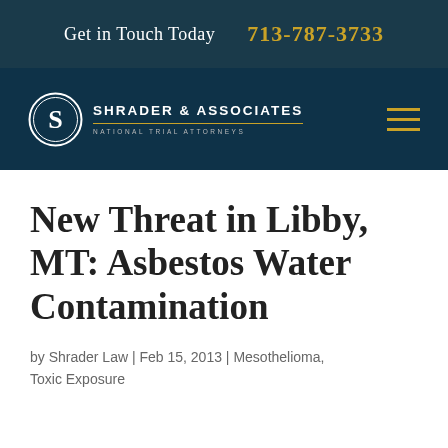Get in Touch Today  713-787-3733
[Figure (logo): Shrader & Associates National Trial Attorneys logo — circular S emblem with firm name]
New Threat in Libby, MT: Asbestos Water Contamination
by Shrader Law | Feb 15, 2013 | Mesothelioma, Toxic Exposure